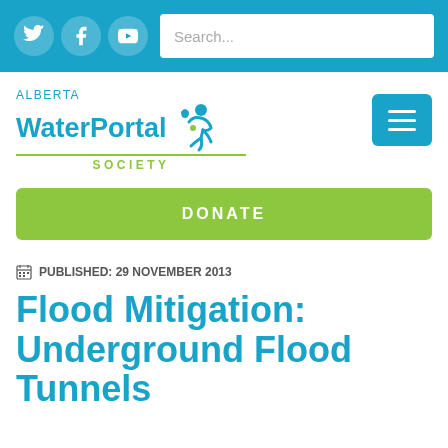Social icons (Twitter, Facebook, YouTube) and Search bar
[Figure (logo): Alberta WaterPortal Society logo with teal text and green underline and SOCIETY label]
DONATE
PUBLISHED: 29 NOVEMBER 2013
Flood Mitigation: Underground Flood Tunnels